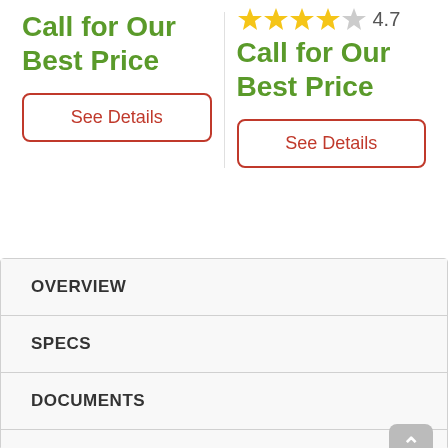Call for Our Best Price
[Figure (other): Star rating: 4 filled stars, 1 half/empty star, rating 4.7]
Call for Our Best Price
See Details
See Details
OVERVIEW
SPECS
DOCUMENTS
VIDEOS
DELIVERY